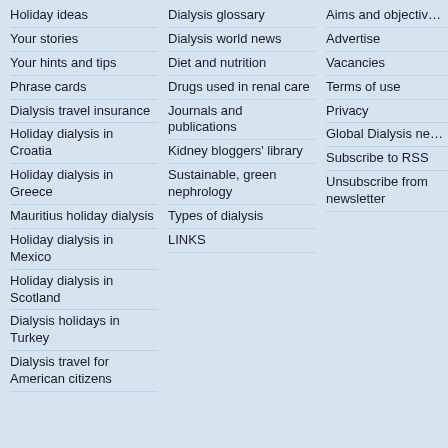Holiday ideas
Your stories
Your hints and tips
Phrase cards
Dialysis travel insurance
Holiday dialysis in Croatia
Holiday dialysis in Greece
Mauritius holiday dialysis
Holiday dialysis in Mexico
Holiday dialysis in Scotland
Dialysis holidays in Turkey
Dialysis travel for American citizens
Dialysis glossary
Dialysis world news
Diet and nutrition
Drugs used in renal care
Journals and publications
Kidney bloggers' library
Sustainable, green nephrology
Types of dialysis
LINKS
Aims and objectives
Advertise
Vacancies
Terms of use
Privacy
Global Dialysis newsletter
Subscribe to RSS
Unsubscribe from newsletter